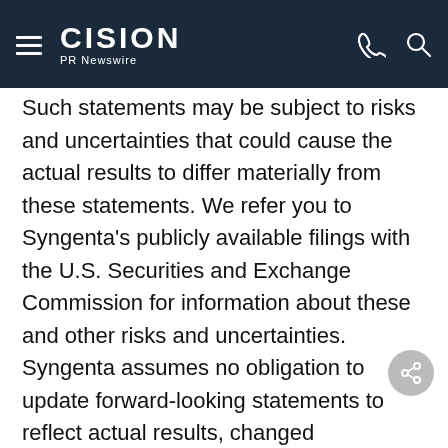CISION PR Newswire
Such statements may be subject to risks and uncertainties that could cause the actual results to differ materially from these statements. We refer you to Syngenta's publicly available filings with the U.S. Securities and Exchange Commission for information about these and other risks and uncertainties. Syngenta assumes no obligation to update forward-looking statements to reflect actual results, changed assumptions or other factors. This document does not constitute, or form part of, any offer or invitation to sell or issue, or any solicitation of any offer, to purchase or subscribe for any ordinary shares in Syngenta AG, or Syngenta ADSs, nor shall it form a basis of, or be relied on in connection with, any